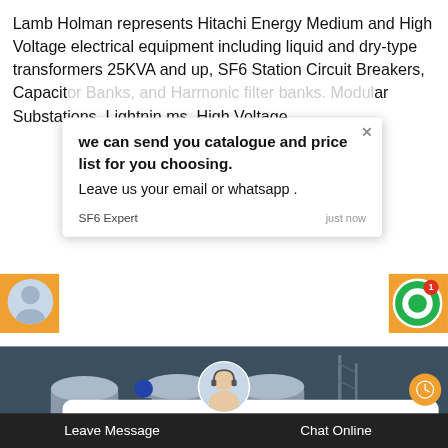Lamb Holman represents Hitachi Energy Medium and High Voltage electrical equipment including liquid and dry-type transformers 25KVA and up, SF6 Station Circuit Breakers, Capacitor Banks, and Harmonic filter banks. Modular Substations, Lightning Arrestors, Fault Indicators, Reclosers, Sectionalizers, Voltage Regulators, and more.
[Figure (screenshot): Live chat popup overlay showing message: 'we can send you catalogue and price list for you choosing. Leave us your email or whatsapp.' From SF6 Expert, just now. Below is a reply input box and bottom navigation bar with Leave Message and Chat Online options.]